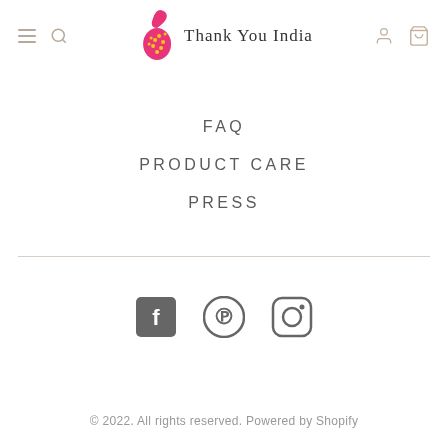[Figure (logo): Thank You India brand logo with pink paisley and handwritten text]
FAQ
PRODUCT CARE
PRESS
[Figure (infographic): Social media icons: Facebook, Pinterest, Instagram]
© 2022. All rights reserved. Powered by Shopify